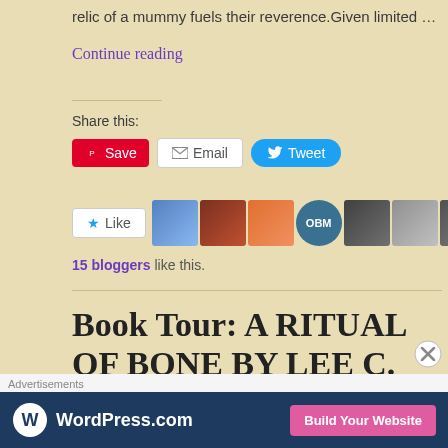relic of a mummy fuels their reverence.Given limited …
Continue reading
Share this:
[Figure (screenshot): Share buttons: Save (Pinterest), Email, Tweet (Twitter)]
[Figure (screenshot): Like button with 10 blogger avatar photos]
15 bloggers like this.
Book Tour: A RITUAL OF BONE BY LEE C. CONLEY (DEAD SAGAS #1)
[Figure (screenshot): WordPress.com advertisement banner with Build Your Website button]